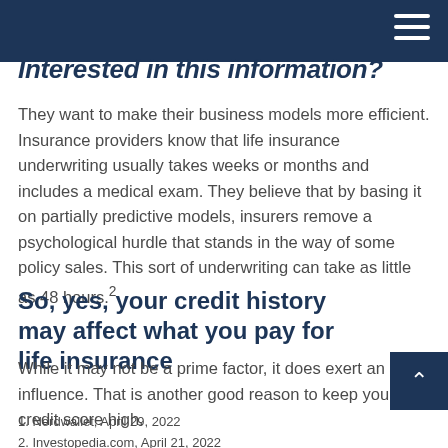Interested in this information?
They want to make their business models more efficient. Insurance providers know that life insurance underwriting usually takes weeks or months and includes a medical exam. They believe that by basing it on partially predictive models, insurers remove a psychological hurdle that stands in the way of some policy sales. This sort of underwriting can take as little as 48 hours.²
So, yes, your credit history may affect what you pay for life insurance
While it may not be a prime factor, it does exert an influence. That is another good reason to keep your credit score high.
1. Nerdwallet, April 29, 2022
2. Investopedia.com, April 21, 2022